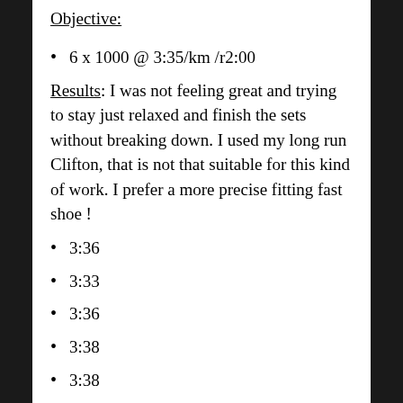Objective:
6 x 1000 @ 3:35/km /r2:00
Results: I was not feeling great and trying to stay just relaxed and finish the sets without breaking down. I used my long run Clifton, that is not that suitable for this kind of work. I prefer a more precise fitting fast shoe !
3:36
3:33
3:36
3:38
3:38
3:40